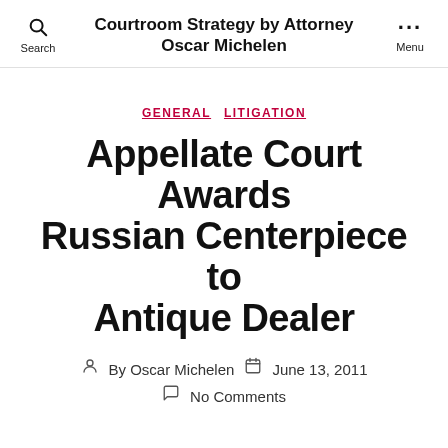Courtroom Strategy by Attorney Oscar Michelen
GENERAL  LITIGATION
Appellate Court Awards Russian Centerpiece to Antique Dealer
By Oscar Michelen   June 13, 2011   No Comments
Last week, a NY Appellate Court resolved litigation